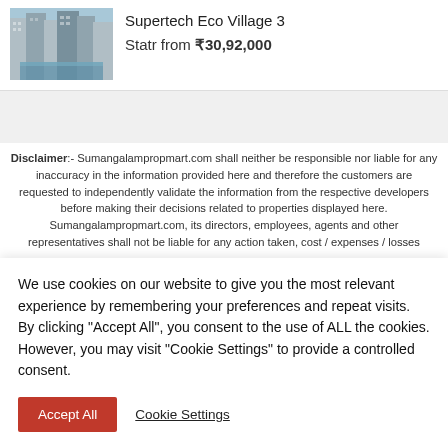[Figure (photo): Photo of Supertech Eco Village 3 apartment complex with pool and high-rise buildings]
Supertech Eco Village 3
Statr from ₹30,92,000
Disclaimer:- Sumangalampropmart.com shall neither be responsible nor liable for any inaccuracy in the information provided here and therefore the customers are requested to independently validate the information from the respective developers before making their decisions related to properties displayed here. Sumangalampropmart.com, its directors, employees, agents and other representatives shall not be liable for any action taken, cost / expenses / losses
We use cookies on our website to give you the most relevant experience by remembering your preferences and repeat visits. By clicking "Accept All", you consent to the use of ALL the cookies. However, you may visit "Cookie Settings" to provide a controlled consent.